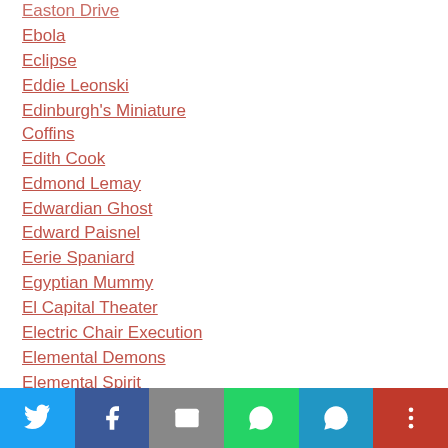Easton Drive
Ebola
Eclipse
Eddie Leonski
Edinburgh's Miniature Coffins
Edith Cook
Edmond Lemay
Edwardian Ghost
Edward Paisnel
Eerie Spaniard
Egyptian Mummy
El Capital Theater
Electric Chair Execution
Elemental Demons
Elemental Spirit
Elizabethan Mystery